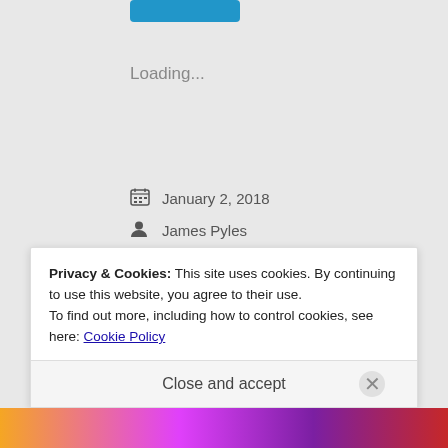[Figure (other): Blue button at top]
Loading...
January 2, 2018
James Pyles
175 words, bored, cold, dark, FffAW Challenge, flash fiction, hell, job, marina, work
20 Comments
Privacy & Cookies: This site uses cookies. By continuing to use this website, you agree to their use.
To find out more, including how to control cookies, see here: Cookie Policy
Close and accept